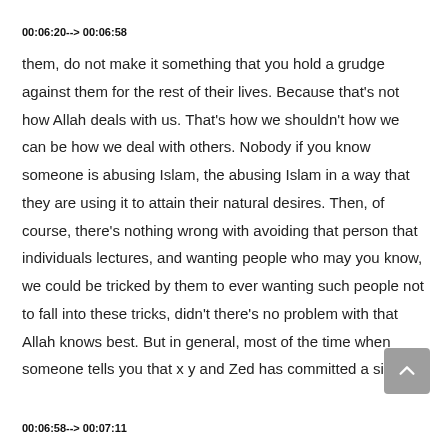00:06:20--> 00:06:58
them, do not make it something that you hold a grudge against them for the rest of their lives. Because that's not how Allah deals with us. That's how we shouldn't how we can be how we deal with others. Nobody if you know someone is abusing Islam, the abusing Islam in a way that they are using it to attain their natural desires. Then, of course, there's nothing wrong with avoiding that person that individuals lectures, and wanting people who may you know, we could be tricked by them to ever wanting such people not to fall into these tricks, didn't there's no problem with that Allah knows best. But in general, most of the time when someone tells you that x y and Zed has committed a sin,
00:06:58--> 00:07:11